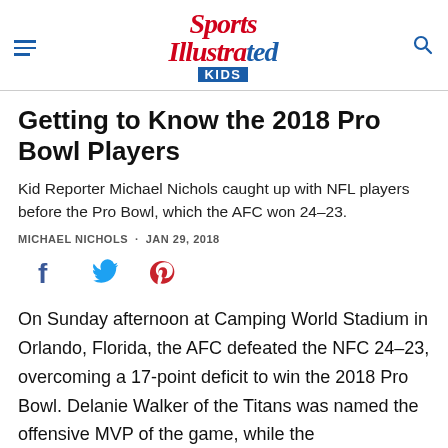Sports Illustrated KIDS
Getting to Know the 2018 Pro Bowl Players
Kid Reporter Michael Nichols caught up with NFL players before the Pro Bowl, which the AFC won 24–23.
MICHAEL NICHOLS · JAN 29, 2018
[Figure (other): Social sharing icons: Facebook, Twitter, Pinterest]
On Sunday afternoon at Camping World Stadium in Orlando, Florida, the AFC defeated the NFC 24–23, overcoming a 17-point deficit to win the 2018 Pro Bowl. Delanie Walker of the Titans was named the offensive MVP of the game, while the